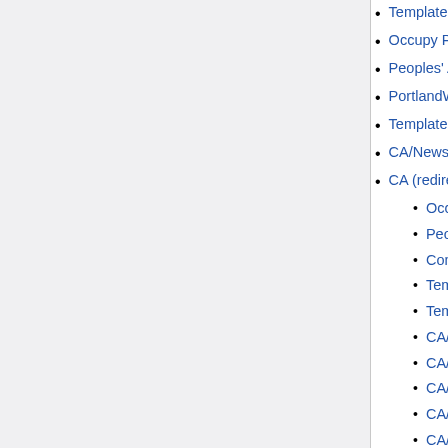Template:WelcomeBoxLayoutCode  (← links)
Occupy Portland Labor Outreach Comm…
Peoples' Assembly Organizing Committe…
PortlandWiki:Technical Queue  (← links)
Template:CA/Assembly/Tab header  (←…
CA/News  (← links)
CA (redirect page)  (← links)
Occupy Portland Labor Outreach Co…
Peoples' Assembly Organizing Comm…
Community Assembly  (← links)
Template:CA/layout  (← links)
Template:CA/Main tabbar  (← links)
CA/News  (← links)
CA/Calendar  (← links)
CA/Global Footer  (← links)
CA/Documents  (← links)
CA/Contact  (← links)
CA/Discussion  (← links)
CA/Organized Power  (← links)